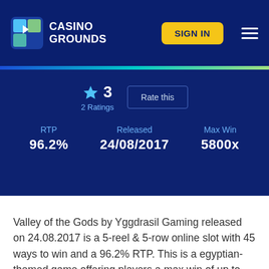CASINO GROUNDS | SIGN IN
★ 3
2 Ratings
Rate this
| RTP | Released | Max Win |
| --- | --- | --- |
| 96.2% | 24/08/2017 | 5800x |
Valley of the Gods by Yggdrasil Gaming released on 24.08.2017 is a 5-reel & 5-row online slot with 45 ways to win and a 96.2% RTP. This is a egyptian-themed game offering players a max win of up to 580000x their stake. Valley of the Gods can be played on all devices from €0.1 to €100 per spin and is considered a medium volatility game.